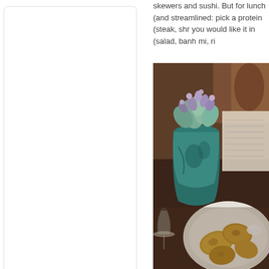skewers and sushi. But for lunch (and streamlined: pick a protein (steak, shr you would like it in (salad, banh mi, ri
[Figure (photo): Restaurant table scene with a teal/green ceramic vase holding succulent plants, and a white bowl containing fried food (likely potatoes or fritters), with a menu/paper visible in the background.]